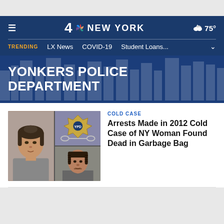4 NBC NEW YORK | 75°
TRENDING  LX News  COVID-19  Student Loans...
YONKERS POLICE DEPARTMENT
[Figure (photo): Mosaic of two mugshots and a police badge photo: left panel shows a woman with dark hair pulled back wearing a gray hoodie; top-right panel shows a police badge and handcuffs; bottom-right panel shows a young man with braided hair.]
COLD CASE
Arrests Made in 2012 Cold Case of NY Woman Found Dead in Garbage Bag